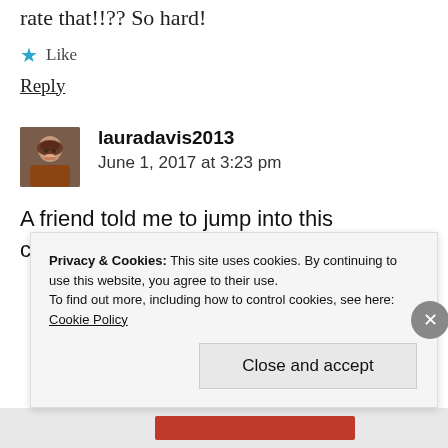rate that!!?? So hard!
★ Like
Reply
lauradavis2013
June 1, 2017 at 3:23 pm
A friend told me to jump into this conversation and so I will. I own a book
Privacy & Cookies: This site uses cookies. By continuing to use this website, you agree to their use.
To find out more, including how to control cookies, see here: Cookie Policy
Close and accept